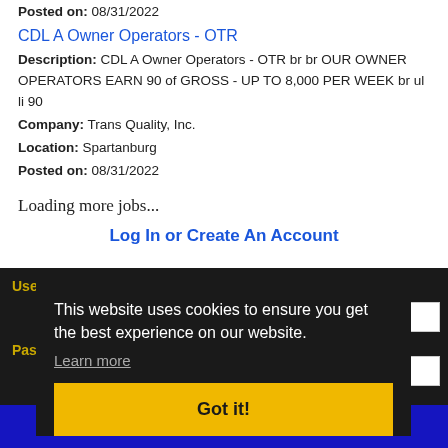Posted on: 08/31/2022
CDL A Owner Operators - OTR
Description: CDL A Owner Operators - OTR br br OUR OWNER OPERATORS EARN 90 of GROSS - UP TO 8,000 PER WEEK br ul li 90
Company: Trans Quality, Inc.
Location: Spartanburg
Posted on: 08/31/2022
Loading more jobs...
Log In or Create An Account
Username:
This website uses cookies to ensure you get the best experience on our website.
Learn more
Got it!
Password:
Log In